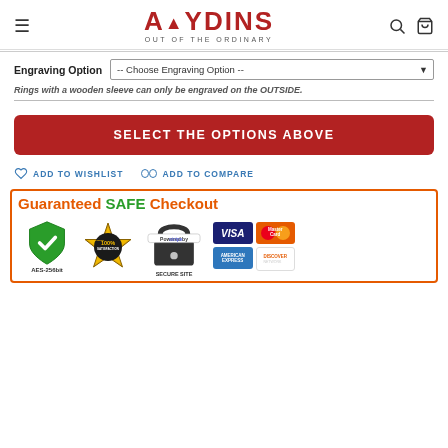AYDINS OUT OF THE ORDINARY
Engraving Option -- Choose Engraving Option --
Rings with a wooden sleeve can only be engraved on the OUTSIDE.
SELECT THE OPTIONS ABOVE
ADD TO WISHLIST   ADD TO COMPARE
[Figure (infographic): Guaranteed SAFE Checkout banner with green shield AES-256bit, 100% Satisfaction Guarantee badge, Powered by Stripe Secure Site lock, and payment card logos: VISA, MasterCard, American Express, Discover]